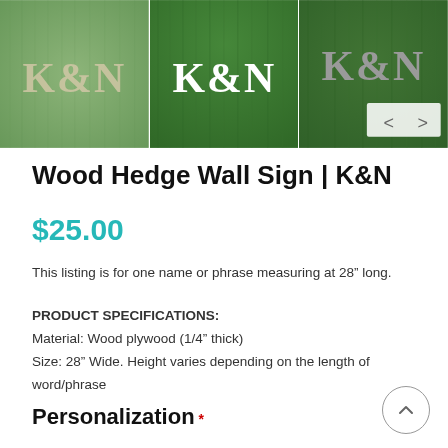[Figure (photo): Three-panel image strip showing wood hedge wall sign with 'K&N' text on green grass/hedge background. First panel: beige/cream colored K&N letters on light muted green hedge. Second panel: white K&N letters on vibrant dark green hedge. Third panel: gray K&N letters on dark green hedge with navigation arrows overlay (< >) on white semi-transparent background.]
Wood Hedge Wall Sign | K&N
$25.00
This listing is for one name or phrase measuring at 28" long.
PRODUCT SPECIFICATIONS:
Material: Wood plywood (1/4" thick)
Size: 28" Wide. Height varies depending on the length of word/phrase
Personalization *